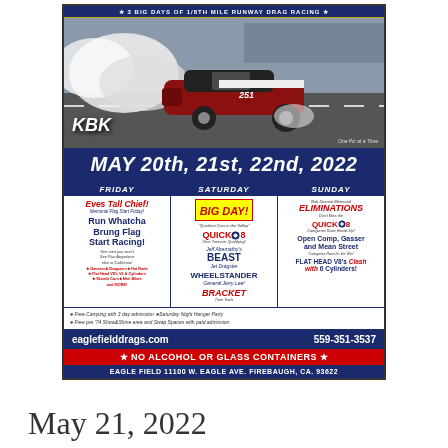[Figure (photo): Drag racing car doing a burnout at a drag strip, with KBK logo in lower left and 'One Pic at a Time' credit. Top banner reads '3 BIG DAYS OF 1/8TH MILE RUNWAY DRAG RACING']
MAY 20th, 21st, 22nd, 2022
| FRIDAY | SATURDAY | SUNDAY |
| --- | --- | --- |
| Eves Tall Chief
Memorial Flag Start Friday!
Run Whatcha Brung Flag Start Racing!
See cars you won't See Run Anywhere else in California!
★Gassers★Dragsters★Hot Rods
★Flat Head V8's V6 & Cylinders
★Muscle Cars★Mini Bikes and MORE! | BIG DAY!
"Quickest Cars in the Valley"
QUICK⚙8
Over Turnover Qualifying
Jeff Abernathy's BEAST Jet Dragster
WHEELSTANDER General Jerry Lee
BRACKET Time Trials | Bob Desmet Memorial
ELIMINATIONS
Don't Miss the
QUICK⚙8
Categories Race Heads Up!
Open Comp, Gasser and Mean Street Categories Race for the Win!
FLAT HEAD V8's Clash with 6 Cylinders! |
★Free Camping with 3 day admission  ★Saturday Night Hanger Party
★Free pre '74 Show&Shine area and Swap Spaces with paid admission
eaglefielddrags.com    559-351-3537
★ NO ALCOHOL OR GLASS CONTAINERS ★
EAGLE FIELD 11100 W. EAGLE AVE. FIREBAUGH, CA. 93622
May 21, 2022